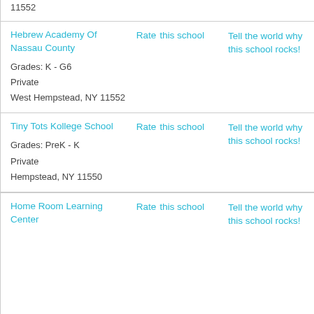11552
| School | Action | Review |
| --- | --- | --- |
| Hebrew Academy Of Nassau County
Grades: K - G6
Private
West Hempstead, NY 11552 | Rate this school | Tell the world why this school rocks! |
| Tiny Tots Kollege School
Grades: PreK - K
Private
Hempstead, NY 11550 | Rate this school | Tell the world why this school rocks! |
| Home Room Learning Center | Rate this school | Tell the world why this school rocks! |